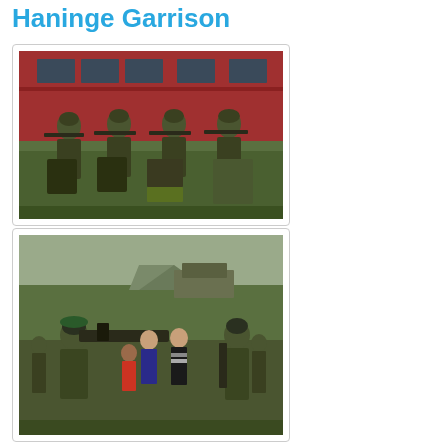Haninge Garrison
[Figure (photo): Four soldiers in camouflage uniforms seated on the ground with military equipment and rifles in front of a red building]
[Figure (photo): Military demonstration event with soldiers showing weapons to civilians including children outdoors near tents and military vehicles]